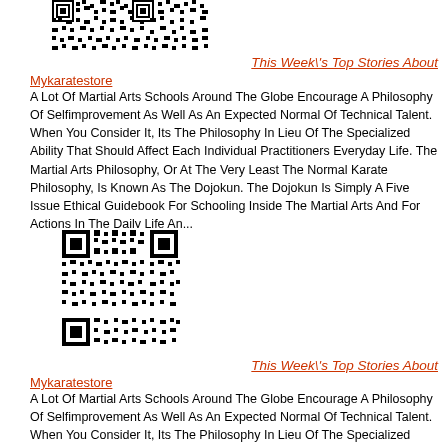[Figure (other): QR code image at the top of the page]
This Week\'s Top Stories About
Mykaratestore
A Lot Of Martial Arts Schools Around The Globe Encourage A Philosophy Of Selfimprovement As Well As An Expected Normal Of Technical Talent. When You Consider It, Its The Philosophy In Lieu Of The Specialized Ability That Should Affect Each Individual Practitioners Everyday Life. The Martial Arts Philosophy, Or At The Very Least The Normal Karate Philosophy, Is Known As The Dojokun. The Dojokun Is Simply A Five Issue Ethical Guidebook For Schooling Inside The Martial Arts And For Actions In The Daily Life An...
[Figure (other): QR code image in the middle of the page]
This Week\'s Top Stories About
Mykaratestore
A Lot Of Martial Arts Schools Around The Globe Encourage A Philosophy Of Selfimprovement As Well As An Expected Normal Of Technical Talent. When You Consider It, Its The Philosophy In Lieu Of The Specialized Ability That Should Affect Each Individual Practitioners Everyday Life. The Martial Arts Philosophy, Or At The Very Least The Normal Karate Philosophy, Is Known As The Dojokun. The Dojokun Is Simply A Five Issue Ethical Guidebook For Schooling Inside The Martial Arts And For Actions In The Daily Life An...